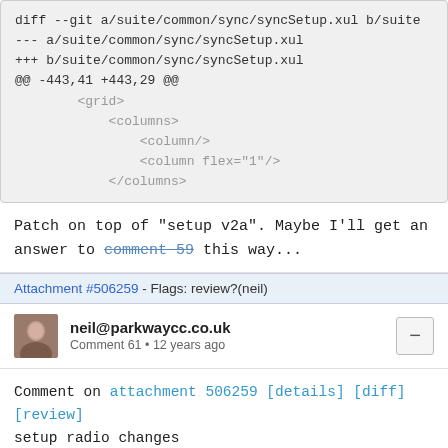[Figure (screenshot): Code diff block showing git diff of syncSetup.xul with lines: diff --git a/suite/common/sync/syncSetup.xul b/suite..., --- a/suite/common/sync/syncSetup.xul, +++ b/suite/common/sync/syncSetup.xul, @@ -443,41 +443,29 @@, then indented XML: <grid>, <columns>, <column/>, <column flex="1"/>, </columns>]
Patch on top of "setup v2a". Maybe I'll get an answer to comment 59 this way...
Attachment #506259 - Flags: review?(neil)
neil@parkwaycc.co.uk
Comment 61 • 12 years ago
Comment on attachment 506259 [details] [diff] [review]
setup radio changes